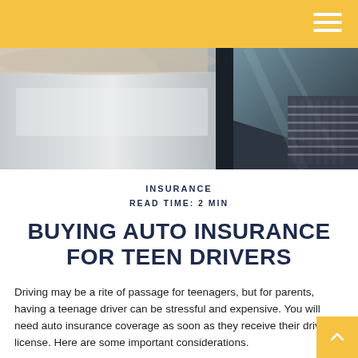[Figure (photo): Close-up photo of a car door and window, showing the vehicle's exterior with blurred background]
INSURANCE
READ TIME: 2 MIN
BUYING AUTO INSURANCE FOR TEEN DRIVERS
Driving may be a rite of passage for teenagers, but for parents, having a teenage driver can be stressful and expensive. You will need auto insurance coverage as soon as they receive their driver's license. Here are some important considerations.